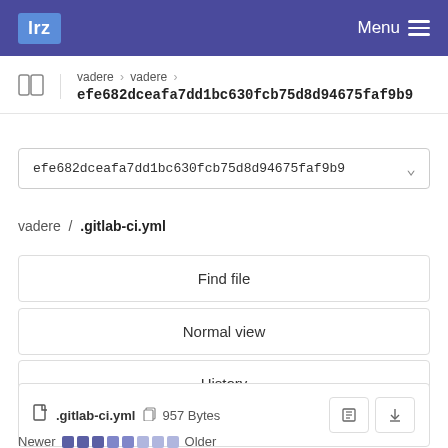lrz  Menu
vadere › vadere › efe682dceafa7dd1bc630fcb75d8d94675faf9b9
efe682dceafa7dd1bc630fcb75d8d94675faf9b9
vadere / .gitlab-ci.yml
Find file
Normal view
History
Permalink
.gitlab-ci.yml  957 Bytes
Newer  Older